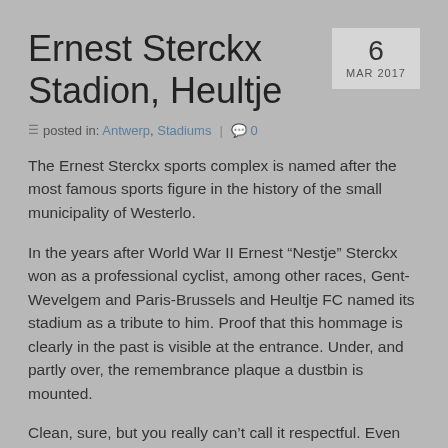Ernest Sterckx Stadion, Heultje
posted in: Antwerp, Stadiums  |  0
The Ernest Sterckx sports complex is named after the most famous sports figure in the history of the small municipality of Westerlo.
In the years after World War II Ernest “Nestje” Sterckx won as a professional cyclist, among other races, Gent-Wevelgem and Paris-Brussels and Heultje FC named its stadium as a tribute to him. Proof that this hommage is clearly in the past is visible at the entrance. Under, and partly over, the remembrance plaque a dustbin is mounted.
Clean, sure, but you really can’t call it respectful. Even more so because on the billboard by the road entrance they even misspelled the poor guy’s name.
The idyllically named Heultje promoted in 1983 to the National